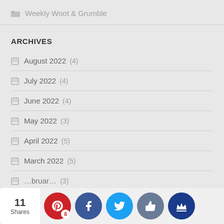Weekly Woot & Grumble
ARCHIVES
August 2022 (4)
July 2022 (4)
June 2022 (4)
May 2022 (3)
April 2022 (5)
March 2022 (5)
February 2022 (3)
11 Shares | Social share buttons: Pinterest (8), Facebook, Twitter, Like, Crown